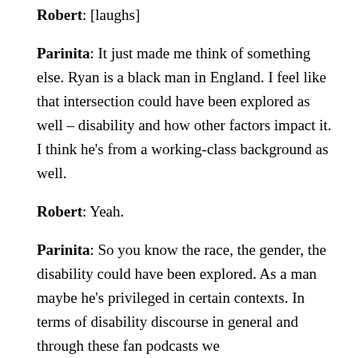Robert: [laughs]
Parinita: It just made me think of something else. Ryan is a black man in England. I feel like that intersection could have been explored as well – disability and how other factors impact it. I think he's from a working-class background as well.
Robert: Yeah.
Parinita: So you know the race, the gender, the disability could have been explored. As a man maybe he's privileged in certain contexts. In terms of disability discourse in general and through these fan podcasts we